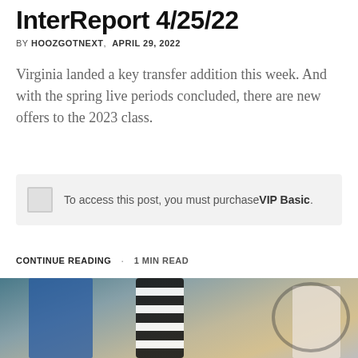InterReport 4/25/22
BY HOOZGOTNEXT,  APRIL 29, 2022
Virginia landed a key transfer addition this week. And with the spring live periods concluded, there are new offers to the 2023 class.
To access this post, you must purchase VIP Basic.
CONTINUE READING · 1 MIN READ
[Figure (photo): Basketball scene with a referee in black-and-white striped shirt, a coach in blue on the left, and a player on the right, inside a gymnasium.]